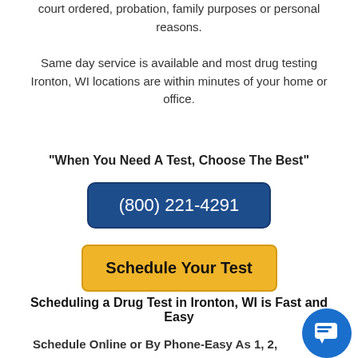court ordered, probation, family purposes or personal reasons.
Same day service is available and most drug testing Ironton, WI locations are within minutes of your home or office.
“When You Need A Test, Choose The Best”
[Figure (other): Blue rounded rectangle button with phone number (800) 221-4291 in white text]
[Figure (other): Yellow rounded rectangle button with text 'Schedule Your Test' in black bold text]
Scheduling a Drug Test in Ironton, WI is Fast and Easy
Schedule Online or By Phone-Easy As 1, 2,
[Figure (other): Blue circular chat bubble icon in bottom right corner]